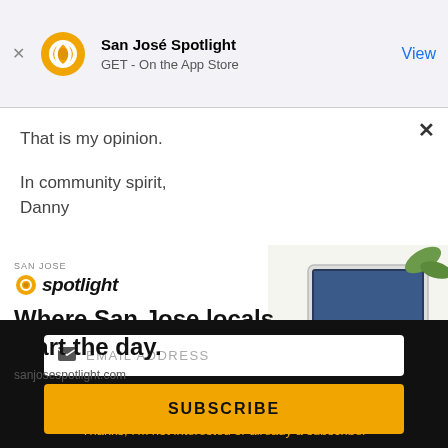[Figure (screenshot): App Store smart banner for San José Spotlight app with orange circular logo, app name, GET - On the App Store subtitle, and View button]
That is my opinion.
In community spirit,
Danny
[Figure (advertisement): San José Spotlight advertisement: logo, headline 'Where San Jose locals start the day.', sanjosespotlight.com URL, and tablet/phone image on right]
[Figure (screenshot): Email subscription form with email address input field and yellow SUBSCRIBE button on black background]
Thanks, I'm not interested or already a subscriber